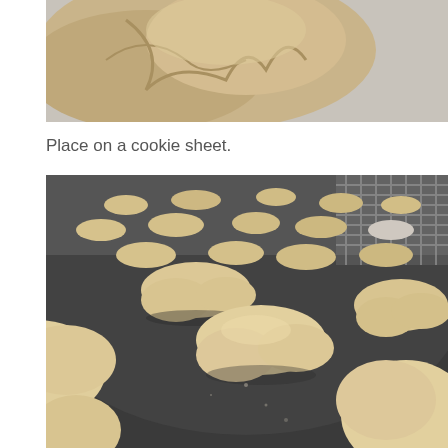[Figure (photo): Close-up photo of raw dough ball or crumpled dough on a light gray surface, partial view cropped at the bottom of the frame.]
Place on a cookie sheet.
[Figure (photo): Photo of small animal-shaped or irregular shaped raw cookie dough pieces placed on a dark non-stick baking/cookie sheet, with a cooling rack visible in the upper right corner. Several dough pieces are arranged across the pan, viewed from a low angle.]